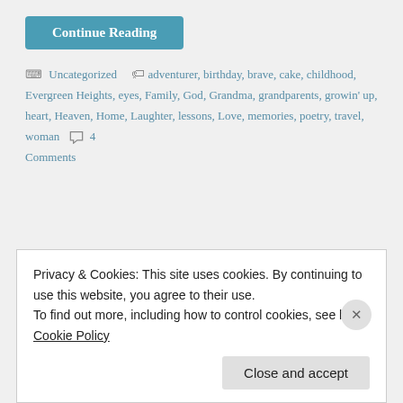Continue Reading
Uncategorized  adventurer, birthday, brave, cake, childhood, Evergreen Heights, eyes, Family, God, Grandma, grandparents, growin' up, heart, Heaven, Home, Laughter, lessons, Love, memories, poetry, travel, woman  4 Comments
Privacy & Cookies: This site uses cookies. By continuing to use this website, you agree to their use.
To find out more, including how to control cookies, see here: Cookie Policy